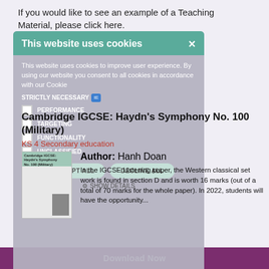If you would like to see an example of a Teaching Material, please click here.
[Figure (screenshot): Cookie consent modal overlay with teal header reading 'This website uses cookies', close button, body text about cookies, toggle sections (STRICTLY NECESSARY, PERFORMANCE, TARGETING, FUNCTIONALITY, UNCLASSIFIED), and ACCEPT ALL / DECLINE ALL buttons with SHOW DETAILS link]
Cambridge IGCSE: Haydn's Symphony No. 100 (Military)
KS 4 Secondary education
Author: Hanh Doan
In the IGCSE Listening paper, the Western classical set work is found in section D and is worth 16 marks (out of a total of 70 marks for the whole paper). In 2022, students will have the opportunity...
Download Now